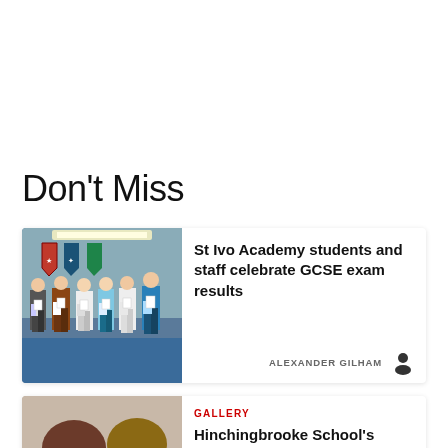Don't Miss
[Figure (photo): Group of students holding papers celebrating GCSE results at St Ivo Academy]
St Ivo Academy students and staff celebrate GCSE exam results
ALEXANDER GILHAM
[Figure (photo): Two young students smiling, Hinchingbrooke School GCSE results]
GALLERY
Hinchingbrooke School's GCSE results mark an all-round improvement from...